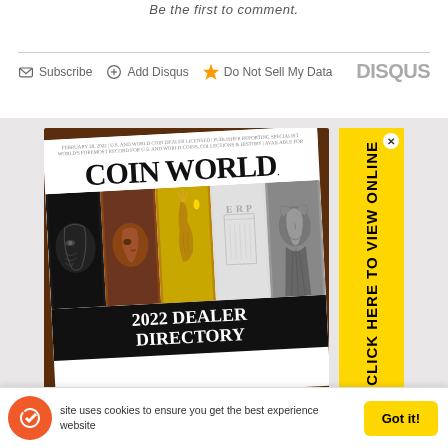Be the first to comment.
Subscribe  Add Disqus  Do Not Sell My Data  DISQUS
[Figure (advertisement): Coin World 2022 Dealer Directory magazine cover advertisement with yellow 'CLICK HERE TO VIEW ONLINE' banner on the right side]
site uses cookies to ensure you get the best experience  website  Got it!